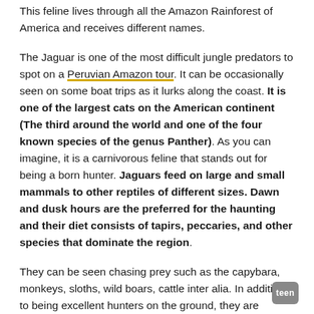This feline lives through all the Amazon Rainforest of America and receives different names.
The Jaguar is one of the most difficult jungle predators to spot on a Peruvian Amazon tour. It can be occasionally seen on some boat trips as it lurks along the coast. It is one of the largest cats on the American continent (The third around the world and one of the four known species of the genus Panther). As you can imagine, it is a carnivorous feline that stands out for being a born hunter. Jaguars feed on large and small mammals to other reptiles of different sizes. Dawn and dusk hours are the preferred for the haunting and their diet consists of tapirs, peccaries, and other species that dominate the region.
They can be seen chasing prey such as the capybara, monkeys, sloths, wild boars, cattle inter alia. In addition to being excellent hunters on the ground, they are comfortable in the water. It has been seen hunting other aquatic jungle predators such as alligators and